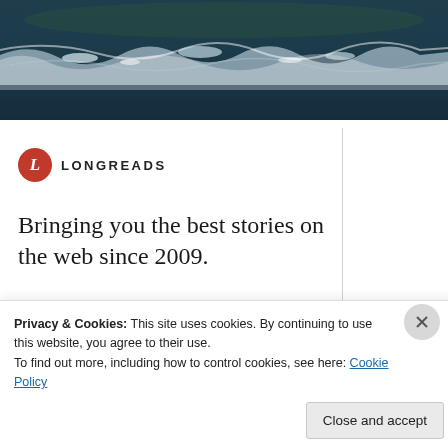[Figure (photo): Ocean waves, dark stormy sea with white foam, aerial or close-up view, dark blue-green tones]
[Figure (logo): Longreads logo: red circle with white italic L, followed by LONGREADS text in bold caps]
Bringing you the best stories on the web since 2009.
[Figure (other): Red 'Start reading' button]
Privacy & Cookies: This site uses cookies. By continuing to use this website, you agree to their use.
To find out more, including how to control cookies, see here: Cookie Policy
Close and accept